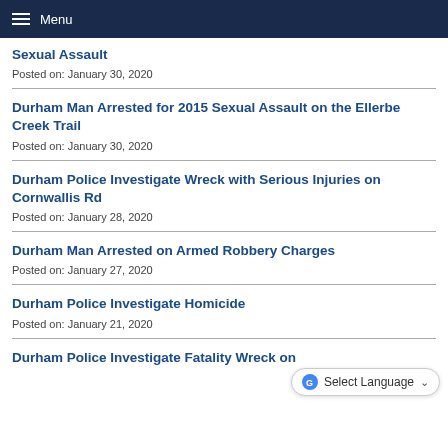Menu
Sexual Assault
Posted on: January 30, 2020
Durham Man Arrested for 2015 Sexual Assault on the Ellerbe Creek Trail
Posted on: January 30, 2020
Durham Police Investigate Wreck with Serious Injuries on Cornwallis Rd
Posted on: January 28, 2020
Durham Man Arrested on Armed Robbery Charges
Posted on: January 27, 2020
Durham Police Investigate Homicide
Posted on: January 21, 2020
Durham Police Investigate Fatality Wreck on